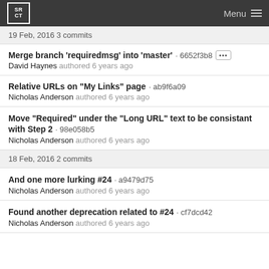SR CT  Menu
19 Feb, 2016 3 commits
Merge branch 'requiredmsg' into 'master' · 6652f3b8
David Haynes authored 6 years ago
Relative URLs on "My Links" page · ab9f6a09
Nicholas Anderson authored 6 years ago
Move "Required" under the "Long URL" text to be consistant with Step 2 · 98e058b5
Nicholas Anderson authored 6 years ago
18 Feb, 2016 2 commits
And one more lurking #24 · a9479d75
Nicholas Anderson authored 6 years ago
Found another deprecation related to #24 · cf7dcd42
Nicholas Anderson authored 6 years ago